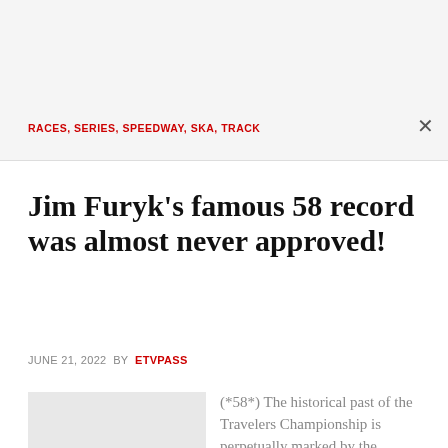RACES, SERIES, SPEEDWAY, SKA, TRACK
Jim Furyk's famous 58 record was almost never approved!
JUNE 21, 2022 BY ETVPASS
[Figure (photo): Light gray placeholder image]
(*58*) The historical past of the Travelers Championship is perpetually marked by the resounding feat of